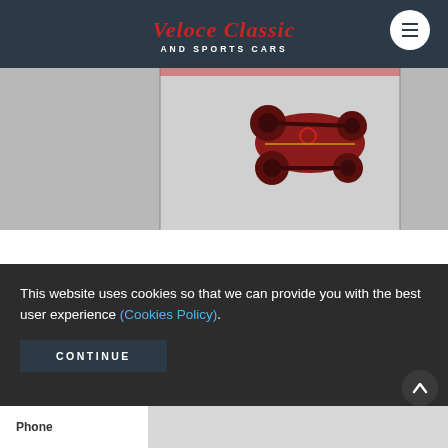Veloce Classic AND SPORTS CARS
[Figure (photo): Aerial/top-down view of a red vintage/classic racing car on a light grey floor, partially visible, showing wheels, body and chassis from above.]
This website uses cookies so that we can provide you with the best user experience (Cookies Policy).
CONTINUE
Phone